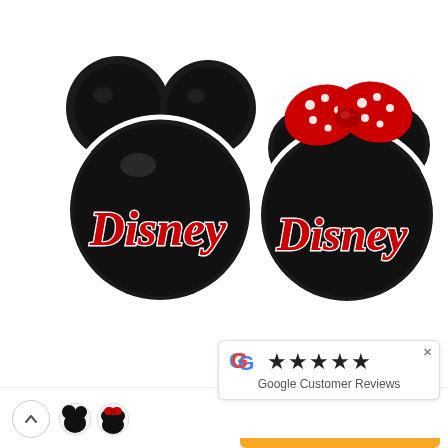[Figure (photo): Two Disney Mickey and Minnie Mouse head silhouette magnets/pins on white background. Left: Mickey Mouse head (black) with red Disney logo script. Right: Minnie Mouse head (black) with red and white polka dot bow and red Disney logo script.]
[Figure (photo): Two small thumbnail images of Mickey and Minnie Mouse head icons at bottom left.]
[Figure (other): Google Customer Reviews widget showing Google G logo, five black stars, and text 'Google Customer Reviews' with a close X button and orange bar at bottom.]